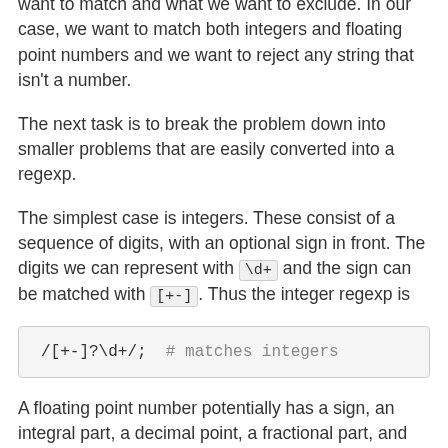want to match and what we want to exclude. In our case, we want to match both integers and floating point numbers and we want to reject any string that isn't a number.
The next task is to break the problem down into smaller problems that are easily converted into a regexp.
The simplest case is integers. These consist of a sequence of digits, with an optional sign in front. The digits we can represent with \d+ and the sign can be matched with [+-]. Thus the integer regexp is
A floating point number potentially has a sign, an integral part, a decimal point, a fractional part, and an exponent. One or more of these parts is optional, so we need to check out the different possibilities. Floating point numbers which are in proper form include 123., 0.345, .34, -1e6, and 25.4E-72. As with integers, the sign out front is completely optional and can be matched